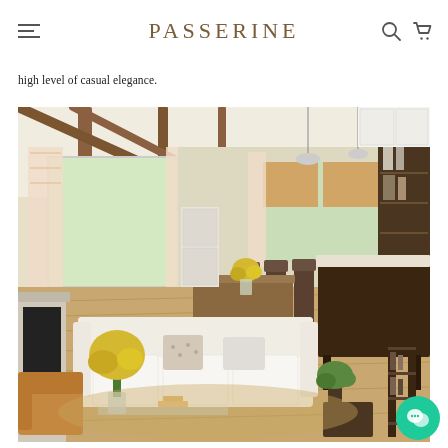PASSERINE
high level of casual elegance.
[Figure (photo): Interior living room and kitchen space with white sofa, wooden beams, patterned curtains, yellow flowers, and bar stools at a dark wood island, showing an open-plan casual elegant home design.]